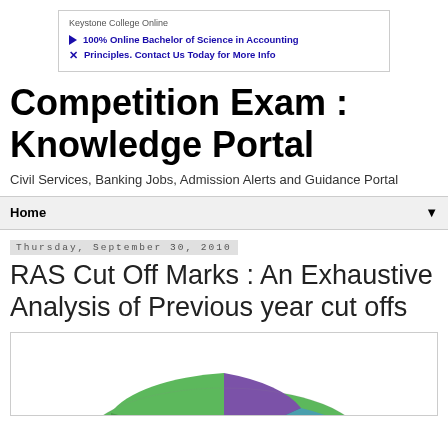[Figure (other): Advertisement banner for Keystone College Online - 100% Online Bachelor of Science in Accounting Principles. Contact Us Today for More Info]
Competition Exam : Knowledge Portal
Civil Services, Banking Jobs, Admission Alerts and Guidance Portal
Home
Thursday, September 30, 2010
RAS Cut Off Marks : An Exhaustive Analysis of Previous year cut offs
[Figure (pie-chart): Partial 3D pie chart visible at bottom of page with multiple colored segments including green, purple, teal/blue, orange, and dark blue]